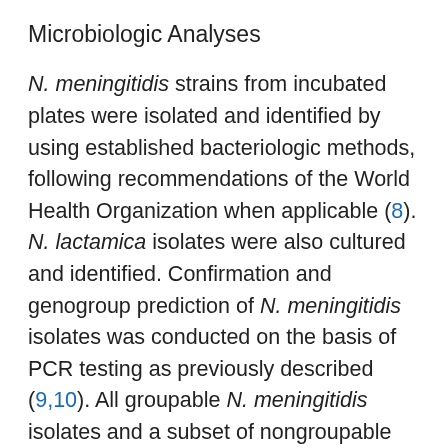Microbiologic Analyses
N. meningitidis strains from incubated plates were isolated and identified by using established bacteriologic methods, following recommendations of the World Health Organization when applicable (8). N. lactamica isolates were also cultured and identified. Confirmation and genogroup prediction of N. meningitidis isolates was conducted on the basis of PCR testing as previously described (9,10). All groupable N. meningitidis isolates and a subset of nongroupable isolates were further tested with immune serum for serogroup confirmation.
Serotypes and serosubtypes were determined by using monoclonal antibody kits obtained from the National Institute of Public Health and the Environment (Bilthoven, the Netherlands) by the whole-cell enzyme immunoassay technique, as